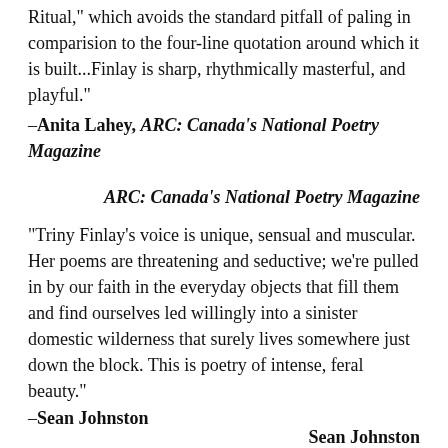Ritual," which avoids the standard pitfall of paling in comparision to the four-line quotation around which it is built...Finlay is sharp, rhythmically masterful, and playful."
-Anita Lahey, ARC: Canada's National Poetry Magazine
ARC: Canada's National Poetry Magazine
"Triny Finlay's voice is unique, sensual and muscular. Her poems are threatening and seductive; we're pulled in by our faith in the everyday objects that fill them and find ourselves led willingly into a sinister domestic wilderness that surely lives somewhere just down the block. This is poetry of intense, feral beauty."
-Sean Johnston
Sean Johnston